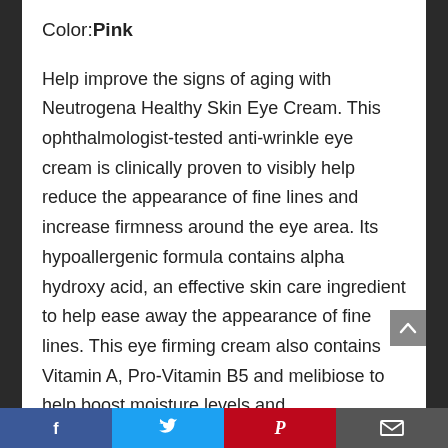Color: Pink
Help improve the signs of aging with Neutrogena Healthy Skin Eye Cream. This ophthalmologist-tested anti-wrinkle eye cream is clinically proven to visibly help reduce the appearance of fine lines and increase firmness around the eye area. Its hypoallergenic formula contains alpha hydroxy acid, an effective skin care ingredient to help ease away the appearance of fine lines. This eye firming cream also contains Vitamin A, Pro-Vitamin B5 and melibiose to help boost moisture levels and
Facebook | Twitter | Pinterest | Email